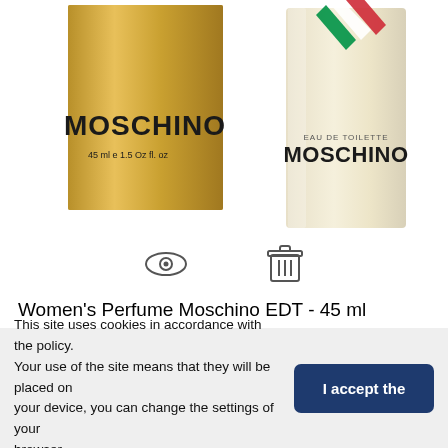[Figure (photo): Two Moschino perfume products: a gold box labeled MOSCHINO 45ml e 1.5 Oz fl.oz on the left, and a perfume bottle labeled EAU DE TOILETTE MOSCHINO with Italian flag chevron design on the right.]
[Figure (other): Two icons: an eye icon and a shopping cart/trash icon, used as product quick-view and add-to-cart buttons.]
Women's Perfume Moschino EDT - 45 ml
39,01 €
This site uses cookies in accordance with the policy. Your use of the site means that they will be placed on your device, you can change the settings of your browser.
I accept the